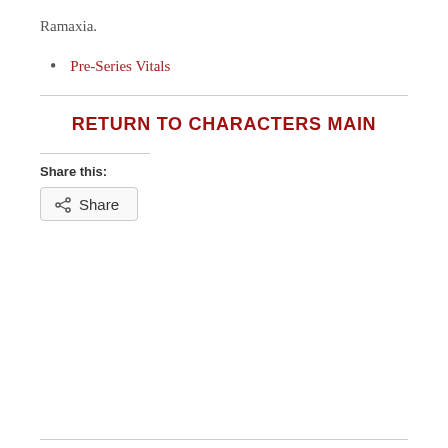Ramaxia.
Pre-Series Vitals
RETURN TO CHARACTERS MAIN
Share this:
Share